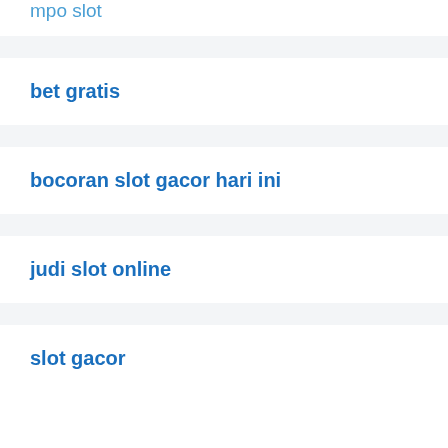mpo slot
bet gratis
bocoran slot gacor hari ini
judi slot online
slot gacor